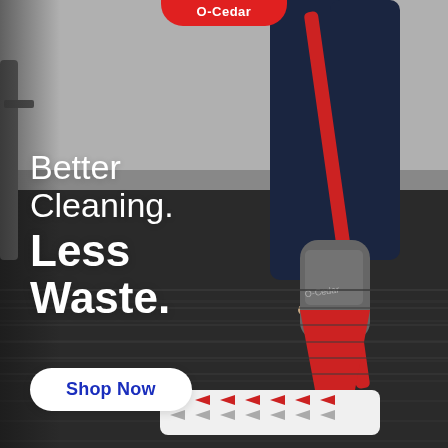[Figure (photo): An advertisement for O-Cedar cleaning products. A person in jeans is using a red and gray O-Cedar spray mop on a dark wood floor. The mop has a white microfiber pad with red chevron patterns. The background shows a room interior.]
Better Cleaning. Less Waste.
Shop Now